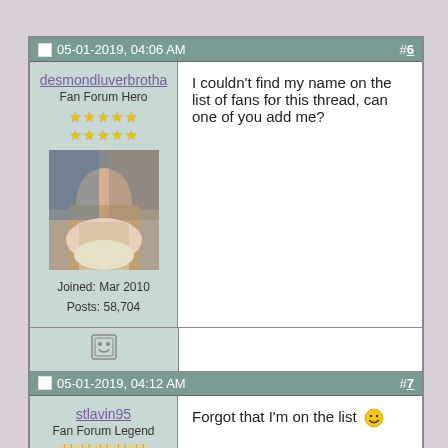05-01-2019, 04:06 AM   #6
desmondluverbrotha
Fan Forum Hero
Joined: Mar 2010
Posts: 58,704
I couldn't find my name on the list of fans for this thread, can one of you add me?
05-01-2019, 04:12 AM   #7
stlavin95
Fan Forum Legend
Forgot that I'm on the list 😄